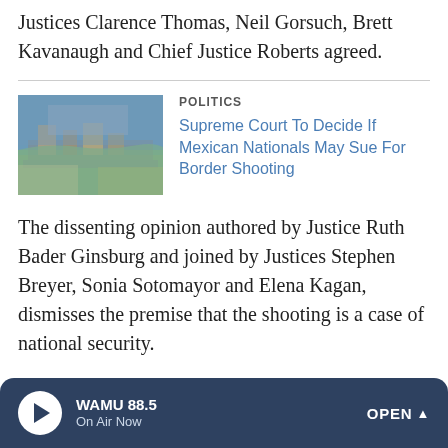Justices Clarence Thomas, Neil Gorsuch, Brett Kavanaugh and Chief Justice Roberts agreed.
[Figure (photo): Aerial photograph of a border city area with industrial infrastructure]
POLITICS
Supreme Court To Decide If Mexican Nationals May Sue For Border Shooting
The dissenting opinion authored by Justice Ruth Bader Ginsburg and joined by Justices Stephen Breyer, Sonia Sotomayor and Elena Kagan, dismisses the premise that the shooting is a case of national security.
According to court documents Hernández and a few friends
WAMU 88.5  On Air Now  OPEN